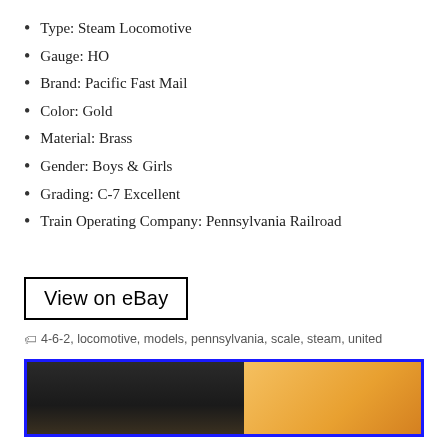Type: Steam Locomotive
Gauge: HO
Brand: Pacific Fast Mail
Color: Gold
Material: Brass
Gender: Boys & Girls
Grading: C-7 Excellent
Train Operating Company: Pennsylvania Railroad
View on eBay
4-6-2, locomotive, models, pennsylvania, scale, steam, united
[Figure (photo): Partial photo of a model steam locomotive with dark background on left and golden/amber color on right, framed with a blue border]